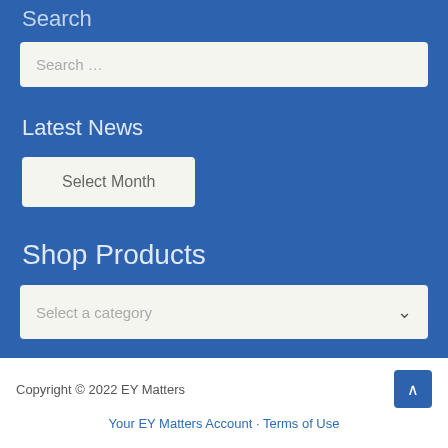Search
Search …
Latest News
Select Month
Shop Products
Select a category
Copyright © 2022 EY Matters
Your EY Matters Account · Terms of Use